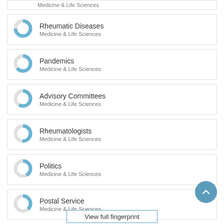Medicine & Life Sciences
Rheumatic Diseases
Medicine & Life Sciences
Pandemics
Medicine & Life Sciences
Advisory Committees
Medicine & Life Sciences
Rheumatologists
Medicine & Life Sciences
Politics
Medicine & Life Sciences
Postal Service
Medicine & Life Sciences
View full fingerprint